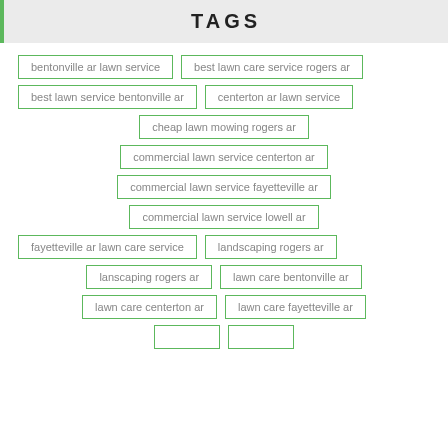TAGS
bentonville ar lawn service
best lawn care service rogers ar
best lawn service bentonville ar
centerton ar lawn service
cheap lawn mowing rogers ar
commercial lawn service centerton ar
commercial lawn service fayetteville ar
commercial lawn service lowell ar
fayetteville ar lawn care service
landscaping rogers ar
lanscaping rogers ar
lawn care bentonville ar
lawn care centerton ar
lawn care fayetteville ar